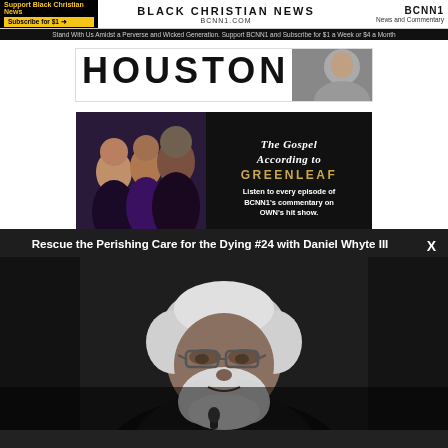Support Black Christian News | BLACK CHRISTIAN NEWS BCNN1.COM | BCNN1 News and Commentary
Stand With Us Amidst a Perverse and Wicked Generation. Support BCNN1 and Subscribe for $1 a Week or $4 a Month
[Figure (photo): Houston banner with large bold text HOUSTON and a grayscale photo on the right side]
[Figure (photo): The Gospel According to Greenleaf advertisement banner with cast photo on left and text on black background on right]
[Figure (photo): Video overlay: Rescue the Perishing Care for the Dying #24 with Daniel Whyte III — showing an elderly Black man with white hair and beard wearing glasses, speaking into a microphone, dark background]